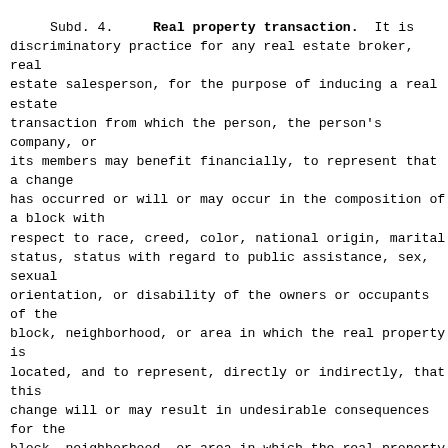Subd. 4.    Real property transaction.  It is a discriminatory practice for any real estate broker, real estate salesperson, for the purpose of inducing a real estate transaction from which the person, the person's company, or its members may benefit financially, to represent that a change has occurred or will or may occur in the composition of a block with respect to race, creed, color, national origin, marital status, status with regard to public assistance, sex, sexual orientation, or disability of the owners or occupants of the block, neighborhood, or area in which the real property is located, and to represent, directly or indirectly, that this change will or may result in undesirable consequences for the block, neighborhood, or area in which the real property is located, including but not limited to the lowering of property values, an increase in criminal or antisocial behavior, or a decline in the quality of schools or other public facilities.
Subd. 5.    Real property full and equal access.  It is an unfair discriminatory practice for a person to deny full and equal access to real property provided for in sections 363A.09 to 363A.19, and 363A.28, subdivision 10, to any person because